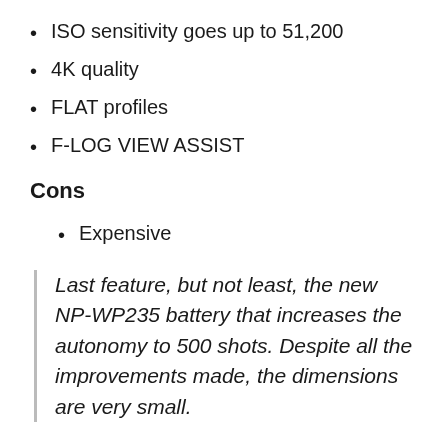ISO sensitivity goes up to 51,200
4K quality
FLAT profiles
F-LOG VIEW ASSIST
Cons
Expensive
Last feature, but not least, the new NP-WP235 battery that increases the autonomy to 500 shots. Despite all the improvements made, the dimensions are very small.